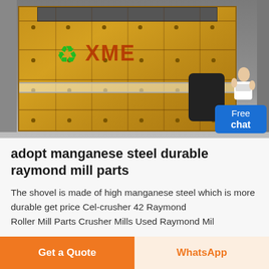[Figure (photo): Industrial impact crusher / raymond mill machine with yellow/orange steel body, recycle logo and brand text on front, large black wheel on right side. Chat widget overlay with 'Free chat' button in blue.]
adopt manganese steel durable raymond mill parts
The shovel is made of high manganese steel which is more durable get price Cel-crusher 42 Raymond Roller Mill Parts Crusher Mills Used Raymond Mil…